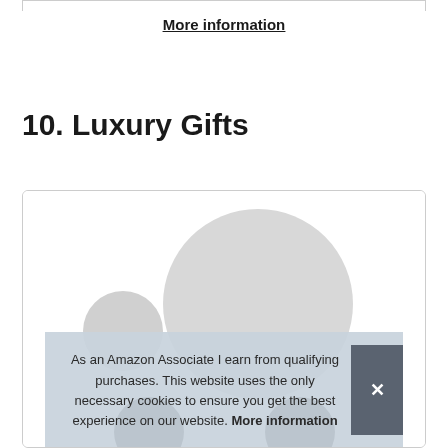More information
10. Luxury Gifts
[Figure (photo): Product image area showing two light gray circles (top, representing product items) and two dark circular product images partially visible at the bottom, inside a rounded card container.]
As an Amazon Associate I earn from qualifying purchases. This website uses the only necessary cookies to ensure you get the best experience on our website. More information